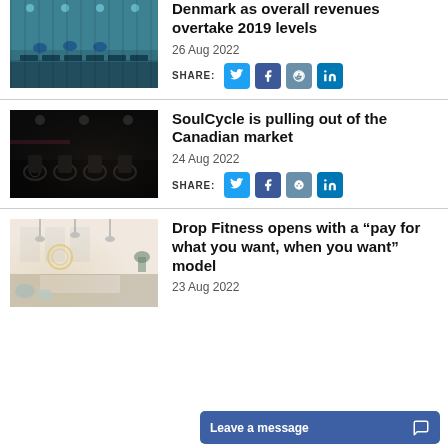[Figure (photo): Gym interior with rowing machines and people exercising, teal ceiling lights]
Denmark as overall revenues overtake 2019 levels
26 Aug 2022
SHARE:
[Figure (photo): Dark interior of spinning studio with rows of exercise bikes]
SoulCycle is pulling out of the Canadian market
24 Aug 2022
SHARE:
[Figure (photo): Modern gym lobby with white reception desk, pendant lights, and seating area]
Drop Fitness opens with a “pay for what you want, when you want” model
23 Aug 2022
Leave a message